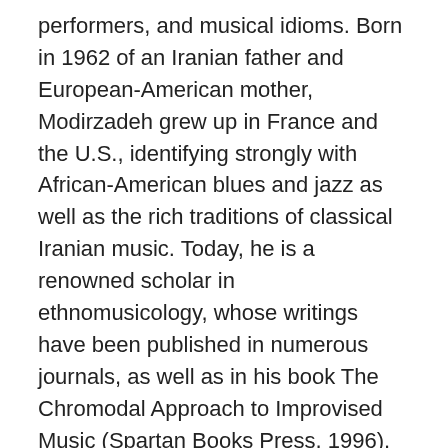performers, and musical idioms. Born in 1962 of an Iranian father and European-American mother, Modirzadeh grew up in France and the U.S., identifying strongly with African-American blues and jazz as well as the rich traditions of classical Iranian music. Today, he is a renowned scholar in ethnomusicology, whose writings have been published in numerous journals, as well as in his book The Chromodal Approach to Improvised Music (Spartan Books Press, 1996). He is the recipient of two NEA Jazz Fellowships as well as an Artist-in-Residence Grant from the California Arts Council.
Henry Brant is considered to be one of the principal pioneers of 20th Century spatial music, writing work in which the planned positioning of the performers throughout the hall, as well as on stage, is an essential